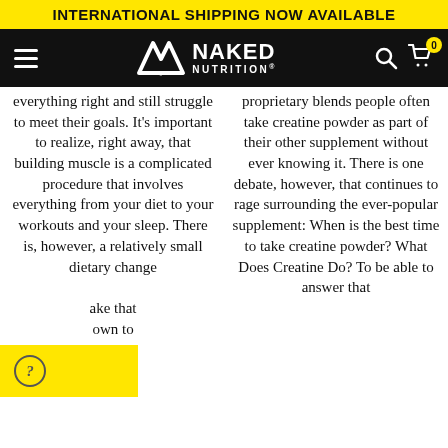INTERNATIONAL SHIPPING NOW AVAILABLE
[Figure (logo): Naked Nutrition logo with hamburger menu, search, and cart icons on black navbar]
everything right and still struggle to meet their goals. It's important to realize, right away, that building muscle is a complicated procedure that involves everything from your diet to your workouts and your sleep. There is, however, a relatively small dietary change [...]ake that [...]own to
proprietary blends people often take creatine powder as part of their other supplement without ever knowing it. There is one debate, however, that continues to rage surrounding the ever-popular supplement: When is the best time to take creatine powder? What Does Creatine Do? To be able to answer that